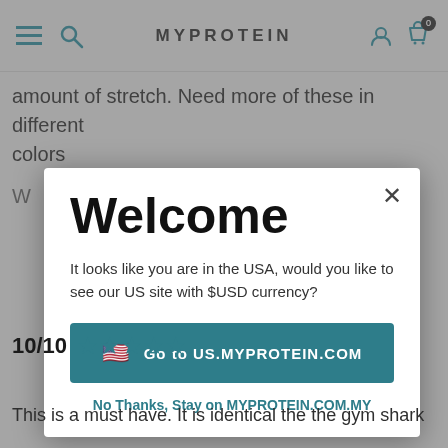MYPROTEIN
amount of stretch. Need more of these in different colors
[Figure (screenshot): Welcome modal dialog with option to go to US.MYPROTEIN.COM or stay on MYPROTEIN.COM.MY]
10/10 ★★★★★
This is a must have. It is identical the the gym shark